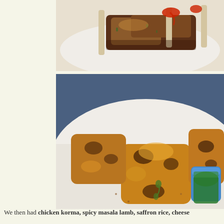[Figure (photo): Close-up photo of spiced fried lamb chops or seekh kebabs on a white plate, with red chili sauce drizzled on top, dark golden-brown crispy coating]
[Figure (photo): Close-up photo of chicken tikka or tandoori chicken pieces on a white plate, golden-yellow spiced coating with charred spots, served with a small cup of green chutney, herbs scattered on plate]
We then had chicken korma, spicy masala lamb, saffron rice, cheese